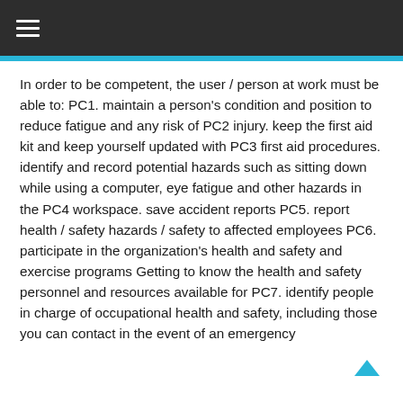≡
In order to be competent, the user / person at work must be able to: PC1. maintain a person's condition and position to reduce fatigue and any risk of PC2 injury. keep the first aid kit and keep yourself updated with PC3 first aid procedures. identify and record potential hazards such as sitting down while using a computer, eye fatigue and other hazards in the PC4 workspace. save accident reports PC5. report health / safety hazards / safety to affected employees PC6. participate in the organization's health and safety and exercise programs Getting to know the health and safety personnel and resources available for PC7. identify people in charge of occupational health and safety, including those you can contact in the event of an emergency